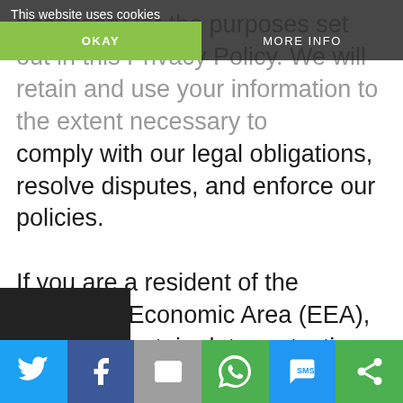necessary for the purposes set out in this Privacy Policy. We will retain and use your information to the extent necessary to comply with our legal obligations, resolve disputes, and enforce our policies.

If you are a resident of the European Economic Area (EEA), you have certain data protection rights. If you wish to be informed what Personal Information we hold about you and if you want it to be
This website uses cookies
OKAY
MORE INFO